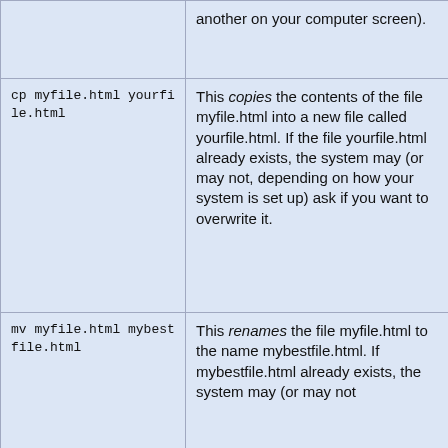| Command | Description |
| --- | --- |
|  | another on your computer screen). |
| cp myfile.html yourfile.html | This copies the contents of the file myfile.html into a new file called yourfile.html. If the file yourfile.html already exists, the system may (or may not, depending on how your system is set up) ask if you want to overwrite it. |
| mv myfile.html mybestfile.html | This renames the file myfile.html to the name mybestfile.html. If mybestfile.html already exists, the system may (or may not |